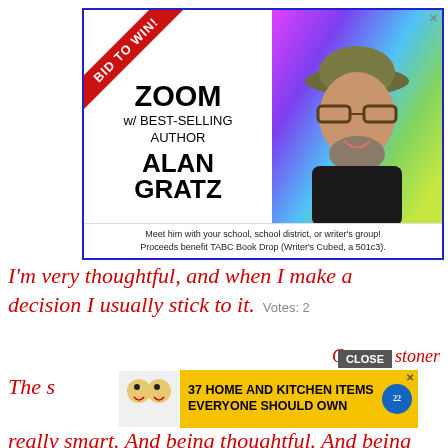[Figure (illustration): Advertisement banner for 'Bid to Win: Zoom w/ Best-Selling Author Alan Gratz'. Features a red diagonal ribbon with 'BID TO WIN!' text, the author's name in bold, and a photo of a bearded man with glasses and a hat against a colorful geometric background. Caption reads: 'Meet him with your school, school district, or writer's group! Proceeds benefit TABC Book Drop (Writer's Cubed, a 501c3).']
I'm very thoughtful, and when I make a decision I usually stick to it.   Votes: 2
Ca... stoner
[Figure (illustration): Advertisement banner: '37 HOME AND KITCHEN ITEMS EVERYONE SHOULD OWN' with a food image on the left and a blue circular badge on the right. Has a close X button.]
The s... ng really smart. And being thoughtful. And being generous. Everything else is crap!   Votes: 2